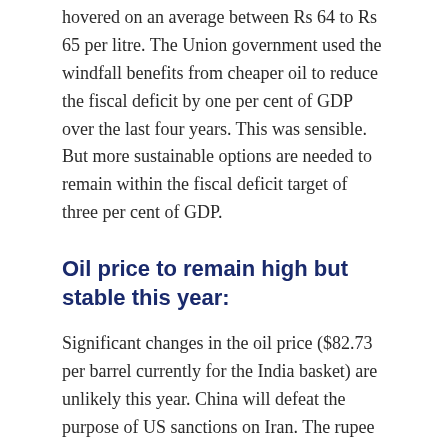hovered on an average between Rs 64 to Rs 65 per litre. The Union government used the windfall benefits from cheaper oil to reduce the fiscal deficit by one per cent of GDP over the last four years. This was sensible. But more sustainable options are needed to remain within the fiscal deficit target of three per cent of GDP.
Oil price to remain high but stable this year:
Significant changes in the oil price ($82.73 per barrel currently for the India basket) are unlikely this year. China will defeat the purpose of US sanctions on Iran. The rupee will also likely remain around Rs 72